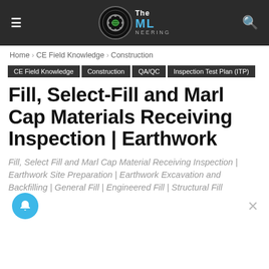The MLinEEring (logo) | menu | search
Home › CE Field Knowledge › Construction
CE Field Knowledge  Construction  QA/QC  Inspection Test Plan (ITP)
Fill, Select-Fill and Marl Cap Materials Receiving Inspection | Earthwork
Fill, Select Fill and Marl Cap Material Receiving Inspection | Earthwork Site Preparation | Earthwork Excavation and Backfilling | General Fill | Engineered Fill | Structural Fill